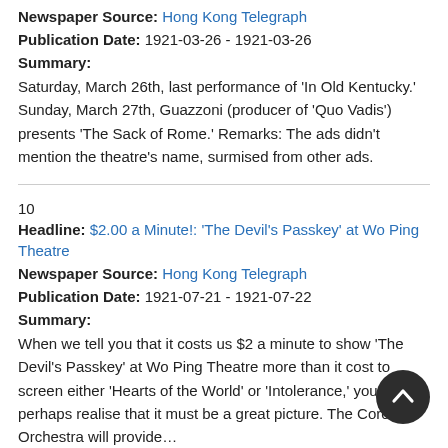Newspaper Source: Hong Kong Telegraph
Publication Date: 1921-03-26 - 1921-03-26
Summary:
Saturday, March 26th, last performance of 'In Old Kentucky.' Sunday, March 27th, Guazzoni (producer of 'Quo Vadis') presents 'The Sack of Rome.' Remarks: The ads didn't mention the theatre's name, surmised from other ads.
10
Headline: $2.00 a Minute!: 'The Devil's Passkey' at Wo Ping Theatre
Newspaper Source: Hong Kong Telegraph
Publication Date: 1921-07-21 - 1921-07-22
Summary:
When we tell you that it costs us $2 a minute to show 'The Devil's Passkey' at Wo Ping Theatre more than it cost to screen either 'Hearts of the World' or 'Intolerance,' you can perhaps realise that it must be a great picture. The Coronet Orchestra will provide…
11
Headline: Intolerance